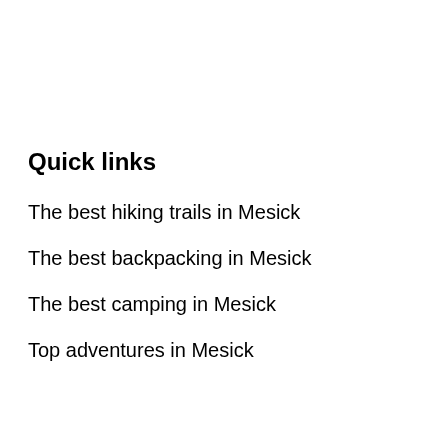Quick links
The best hiking trails in Mesick
The best backpacking in Mesick
The best camping in Mesick
Top adventures in Mesick